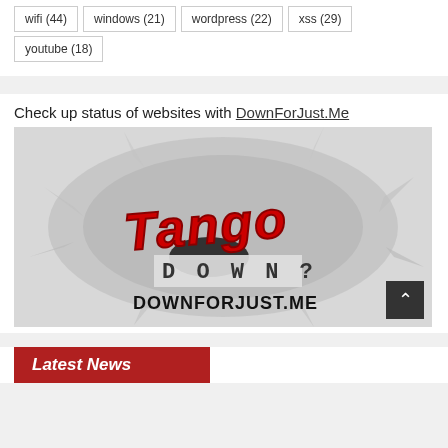wifi (44)
windows (21)
wordpress (22)
xss (29)
youtube (18)
Check up status of websites with DownForJust.Me
[Figure (logo): DownForJust.Me logo — Tango Down? branding with red graffiti-style 'Tango' text and 'DOWN?' block letters on a grey ink-splash background, with 'DOWNFORJUST.ME' text below]
Latest News